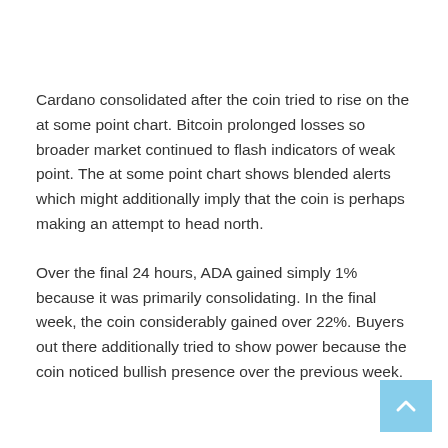Cardano consolidated after the coin tried to rise on the at some point chart. Bitcoin prolonged losses so broader market continued to flash indicators of weak point. The at some point chart shows blended alerts which might additionally imply that the coin is perhaps making an attempt to head north.
Over the final 24 hours, ADA gained simply 1% because it was primarily consolidating. In the final week, the coin considerably gained over 22%. Buyers out there additionally tried to show power because the coin noticed bullish presence over the previous week.